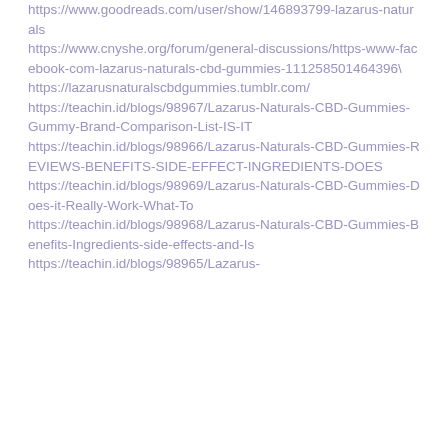https://www.goodreads.com/user/show/146893799-lazarus-naturals
https://www.cnyshe.org/forum/general-discussions/https-www-facebook-com-lazarus-naturals-cbd-gummies-111258501464396\
https://lazarusnaturalscbdgummies.tumblr.com/
https://teachin.id/blogs/98967/Lazarus-Naturals-CBD-Gummies-Gummy-Brand-Comparison-List-IS-IT
https://teachin.id/blogs/98966/Lazarus-Naturals-CBD-Gummies-REVIEWS-BENEFITS-SIDE-EFFECT-INGREDIENTS-DOES
https://teachin.id/blogs/98969/Lazarus-Naturals-CBD-Gummies-Does-it-Really-Work-What-To
https://teachin.id/blogs/98968/Lazarus-Naturals-CBD-Gummies-Benefits-Ingredients-side-effects-and-Is
https://teachin.id/blogs/98965/Lazarus-